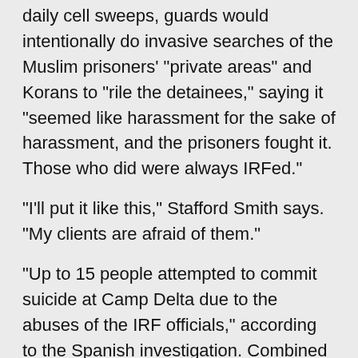daily cell sweeps, guards would intentionally do invasive searches of the Muslim prisoners' "private areas" and Korans to "rile the detainees," saying it "seemed like harassment for the sake of harassment, and the prisoners fought it. Those who did were always IRFed."
"I'll put it like this," Stafford Smith says. "My clients are afraid of them."
"Up to 15 people attempted to commit suicide at Camp Delta due to the abuses of the IRF officials," according to the Spanish investigation. Combined with other documentation, including prisoner testimony and legal memos, the IRF teams appear to be one of the most significant forces in the abuse of prisoners at Guantánamo, worthy of an investigation by U.S. prosecutors in and of themselves.